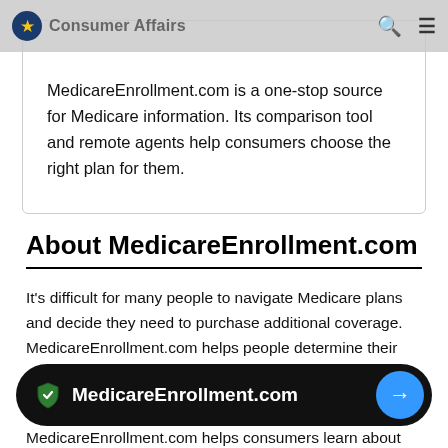Consumer Affairs (nav bar)
MedicareEnrollment.com is a one-stop source for Medicare information. Its comparison tool and remote agents help consumers choose the right plan for them.
About MedicareEnrollment.com
It's difficult for many people to navigate Medicare plans and decide they need to purchase additional coverage. MedicareEnrollment.com helps people determine their needs, evaluate their options and receive answers on anything related to Medicare.
MedicareEnrollment.com helps consumers learn about
MedicareEnrollment.com →